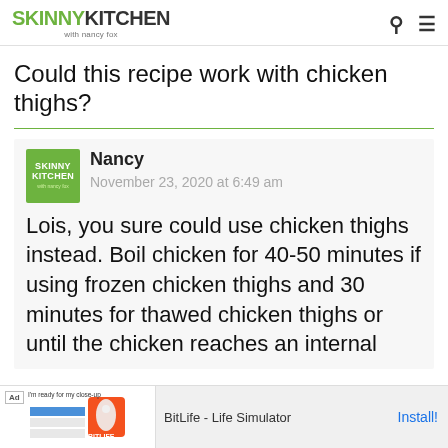SKINNY KITCHEN with nancy fox
Could this recipe work with chicken thighs?
Nancy
November 23, 2020 at 6:49 am
Lois, you sure could use chicken thighs instead. Boil chicken for 40-50 minutes if using frozen chicken thighs and 30 minutes for thawed chicken thighs or until the chicken reaches an internal tem...
[Figure (screenshot): BitLife - Life Simulator advertisement banner at bottom of page]